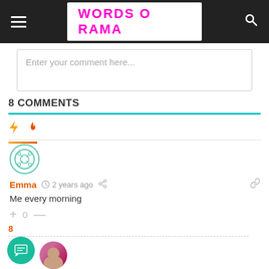WORDS O RAMA
Enter your comment here...
8 COMMENTS
Me every morning
Emma  2 years ago
+ 0 —